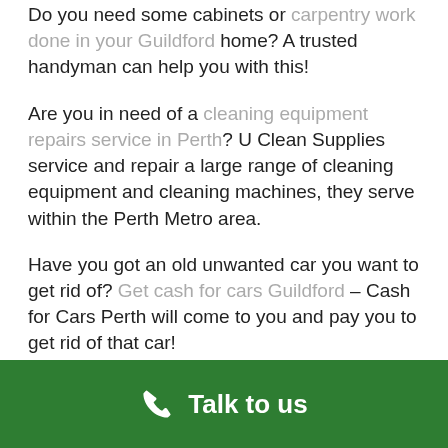Do you need some cabinets or carpentry work done in your Guildford home? A trusted handyman can help you with this!
Are you in need of a cleaning equipment repairs service in Perth? U Clean Supplies service and repair a large range of cleaning equipment and cleaning machines, they serve within the Perth Metro area.
Have you got an old unwanted car you want to get rid of? Get cash for cars Guildford – Cash for Cars Perth will come to you and pay you to get rid of that car!
Need a door installation in Guildford? Contact Doors Apart to get a quote on any type of door installation.
Talk to us